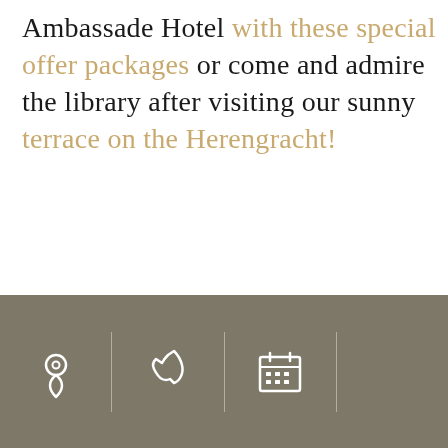Ambassade Hotel with these special offer packages or come and admire the library after visiting our sunny terrace on the Herengracht!
[Figure (infographic): Booking widget with two buttons: 'THE BEST AVAILABLE RATE' on dark teal background, and 'VIEW SPECIAL OFFERS' on grey background. A close 'x' button above the widget.]
[Figure (infographic): Footer bar in grey-brown color with three icon sections separated by vertical dividers: a location pin icon, a phone icon, and a calendar icon.]